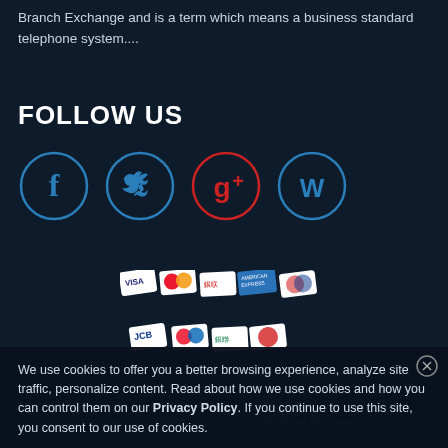Branch Exchange and is a term which means a business standard telephone system....
FOLLOW US
[Figure (illustration): Four social media icons in circles: Facebook (blue circle), Twitter (blue circle), Google+ (red circle), WordPress (blue circle)]
[Figure (illustration): Payment method icons in two rows: VISA, Mastercard, UnionPay, American Express, another card (top row); JCB, Maestro, and two more cards (bottom row)]
We use cookies to offer you a better browsing experience, analyze site traffic, personalize content. Read about how we use cookies and how you can control them on our Privacy Policy. If you continue to use this site, you consent to our use of cookies.
© Copyright 2009/2022 By ... All Rights Reserved.